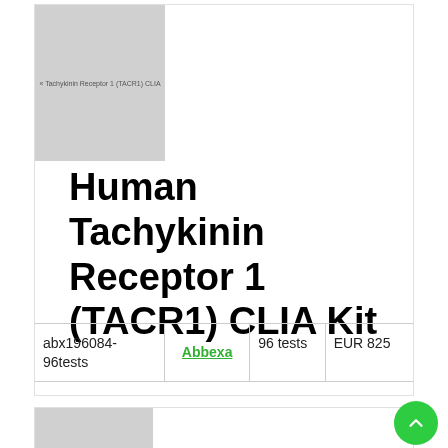[Figure (photo): Product image placeholder for Human Tachykinin Receptor 1 (TACR1) CLIA Kit with small text label]
Human Tachykinin Receptor 1 (TACR1) CLIA Kit
| abx196084-96tests | Abbexa | 96 tests | EUR 825 |
[Figure (photo): Partial product image placeholder for next item]